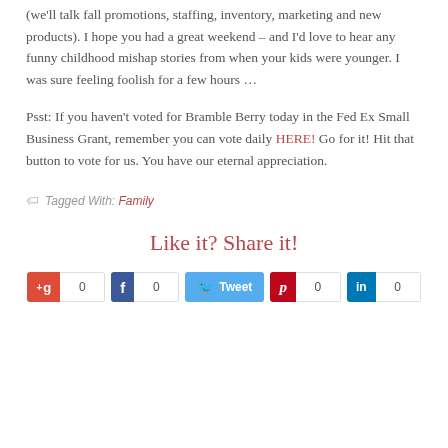(we'll talk fall promotions, staffing, inventory, marketing and new products). I hope you had a great weekend – and I'd love to hear any funny childhood mishap stories from when your kids were younger. I was sure feeling foolish for a few hours ...
Psst: If you haven't voted for Bramble Berry today in the Fed Ex Small Business Grant, remember you can vote daily HERE! Go for it! Hit that button to vote for us. You have our eternal appreciation.
Tagged With: Family
Like it? Share it!
[Figure (infographic): Social share buttons: Google+, Facebook, Twitter Tweet, Pinterest, LinkedIn, each showing count 0]